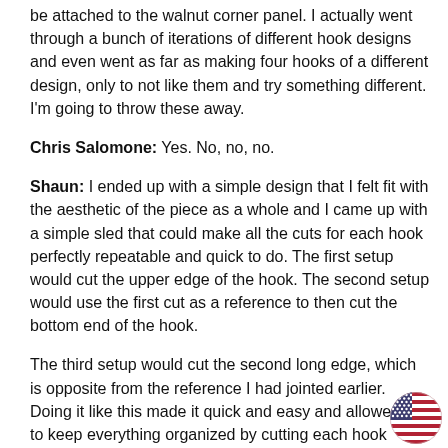be attached to the walnut corner panel. I actually went through a bunch of iterations of different hook designs and even went as far as making four hooks of a different design, only to not like them and try something different. I'm going to throw these away.
Chris Salomone: Yes. No, no, no.
Shaun: I ended up with a simple design that I felt fit with the aesthetic of the piece as a whole and I came up with a simple sled that could make all the cuts for each hook perfectly repeatable and quick to do. The first setup would cut the upper edge of the hook. The second setup would use the first cut as a reference to then cut the bottom end of the hook.
The third setup would cut the second long edge, which is opposite from the reference I had jointed earlier. Doing it like this made it quick and easy and allowed me to keep everything organized by cutting each hook completely from start to finish, instead of having to switch setups in between each cut. I also used a hold down for the last cut, which made it a lot safer as there really wasn't space to hold the piece with my hands.
[Figure (illustration): Small US flag icon in bottom right corner]